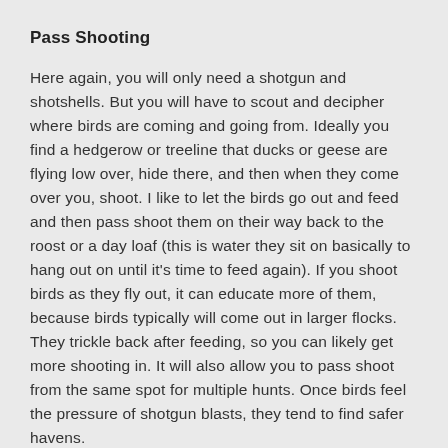Pass Shooting
Here again, you will only need a shotgun and shotshells. But you will have to scout and decipher where birds are coming and going from. Ideally you find a hedgerow or treeline that ducks or geese are flying low over, hide there, and then when they come over you, shoot. I like to let the birds go out and feed and then pass shoot them on their way back to the roost or a day loaf (this is water they sit on basically to hang out on until it's time to feed again). If you shoot birds as they fly out, it can educate more of them, because birds typically will come out in larger flocks. They trickle back after feeding, so you can likely get more shooting in. It will also allow you to pass shoot from the same spot for multiple hunts. Once birds feel the pressure of shotgun blasts, they tend to find safer havens.